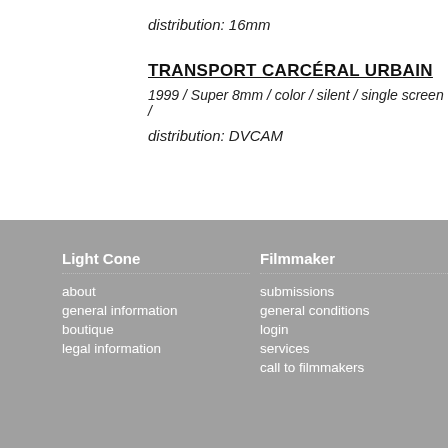distribution: 16mm
TRANSPORT CARCÉRAL URBAIN
1999 / Super 8mm / color / silent / single screen /
distribution: DVCAM
Light Cone
about
general information
boutique
legal information
Filmmaker
submissions
general conditions
login
services
call to filmmakers